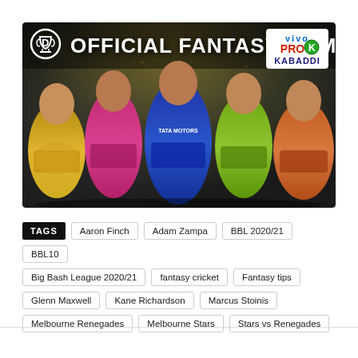[Figure (photo): Banner image for 'Official Fantasy Game' featuring five kabaddi players in colorful jerseys (yellow, pink, blue, green, orange) standing with arms crossed. The banner shows the Dream11 logo, 'OFFICIAL FANTASY GAME' text, and Vivo Pro Kabaddi logo in the top right.]
TAGS  Aaron Finch  Adam Zampa  BBL 2020/21  BBL10  Big Bash League 2020/21  fantasy cricket  Fantasy tips  Glenn Maxwell  Kane Richardson  Marcus Stoinis  Melbourne Renegades  Melbourne Stars  Stars vs Renegades